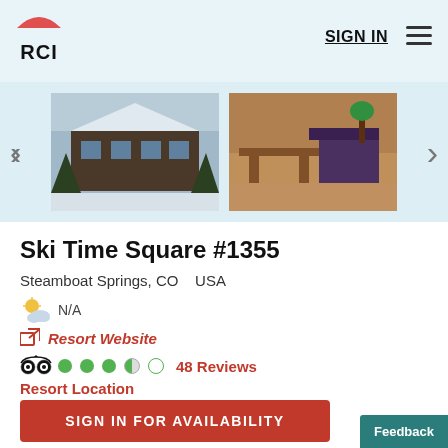RCI — SIGN IN menu
[Figure (photo): Two resort photos: snow-covered chalet exterior on left, interior living room with wooden furniture on right]
Ski Time Square #1355
Steamboat Springs, CO   USA
N/A
Resort Website
48 Reviews
Resort Location
SIGN IN FOR AVAILABILITY